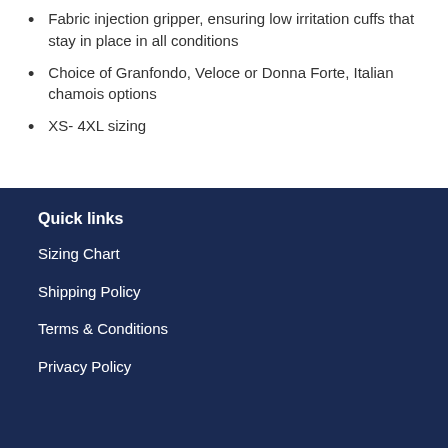Fabric injection gripper, ensuring low irritation cuffs that stay in place in all conditions
Choice of Granfondo, Veloce or Donna Forte, Italian chamois options
XS- 4XL sizing
Quick links
Sizing Chart
Shipping Policy
Terms & Conditions
Privacy Policy